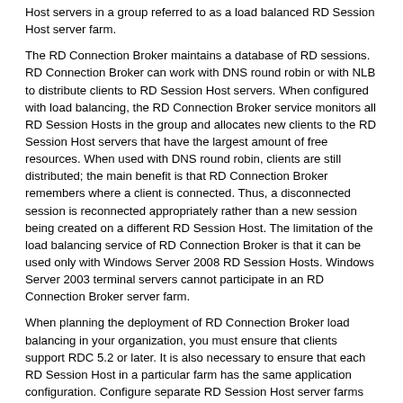Host servers in a group referred to as a load balanced RD Session Host server farm.
The RD Connection Broker maintains a database of RD sessions. RD Connection Broker can work with DNS round robin or with NLB to distribute clients to RD Session Host servers. When configured with load balancing, the RD Connection Broker service monitors all RD Session Hosts in the group and allocates new clients to the RD Session Host servers that have the largest amount of free resources. When used with DNS round robin, clients are still distributed; the main benefit is that RD Connection Broker remembers where a client is connected. Thus, a disconnected session is reconnected appropriately rather than a new session being created on a different RD Session Host. The limitation of the load balancing service of RD Connection Broker is that it can be used only with Windows Server 2008 RD Session Hosts. Windows Server 2003 terminal servers cannot participate in an RD Connection Broker server farm.
When planning the deployment of RD Connection Broker load balancing in your organization, you must ensure that clients support RDC 5.2 or later. It is also necessary to ensure that each RD Session Host in a particular farm has the same application configuration. Configure separate RD Session Host server farms when it is necessary to deploy different groups of applications. For example, application A and application B conflict when deployed together on a single RD Session Host server and must be deployed on separate ones. It would be necessary to plan the deployment of two RD Session Host server farms, one for each application, if you need to extend client capacity by adding additional RD Session Host server farms to support each application.